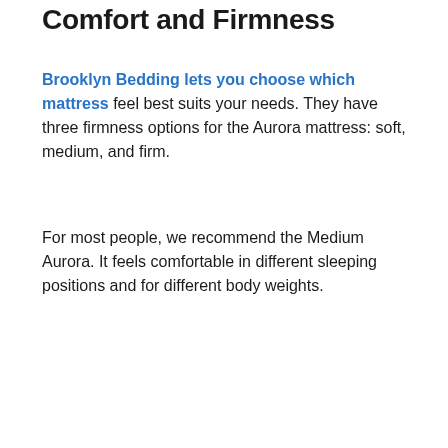Comfort and Firmness
Brooklyn Bedding lets you choose which mattress feel best suits your needs. They have three firmness options for the Aurora mattress: soft, medium, and firm.
For most people, we recommend the Medium Aurora. It feels comfortable in different sleeping positions and for different body weights.